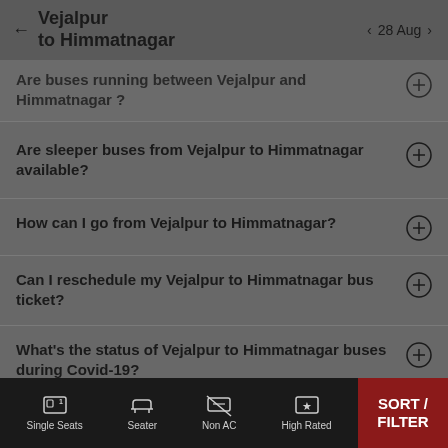Vejalpur to Himmatnagar  28 Aug
Are buses running between Vejalpur and Himmatnagar ?
Are sleeper buses from Vejalpur to Himmatnagar available?
How can I go from Vejalpur to Himmatnagar?
Can I reschedule my Vejalpur to Himmatnagar bus ticket?
What's the status of Vejalpur to Himmatnagar buses during Covid-19?
Single Seats  Seater  Non AC  High Rated  SORT / FILTER